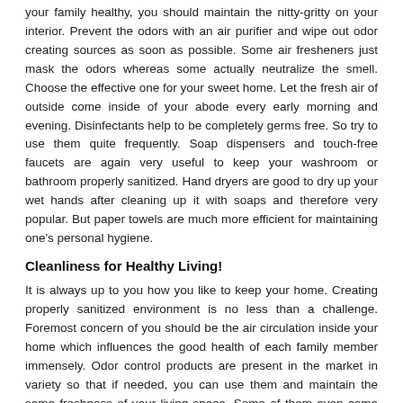your family healthy, you should maintain the nitty-gritty on your interior. Prevent the odors with an air purifier and wipe out odor creating sources as soon as possible. Some air fresheners just mask the odors whereas some actually neutralize the smell. Choose the effective one for your sweet home. Let the fresh air of outside come inside of your abode every early morning and evening. Disinfectants help to be completely germs free. So try to use them quite frequently. Soap dispensers and touch-free faucets are again very useful to keep your washroom or bathroom properly sanitized. Hand dryers are good to dry up your wet hands after cleaning up it with soaps and therefore very popular. But paper towels are much more efficient for maintaining one's personal hygiene.
Cleanliness for Healthy Living!
It is always up to you how you like to keep your home. Creating properly sanitized environment is no less than a challenge. Foremost concern of you should be the air circulation inside your home which influences the good health of each family member immensely. Odor control products are present in the market in variety so that if needed, you can use them and maintain the same freshness of your living space. Some of them even come up with tantalizing fragrance. So now, people are much more relaxed regarding the odor issue than before. Keep your toilets and urinals germs free with the help of automatic urinal flushers and cleanings systems. If you start living your life in this way, you will soon diminish all kinds of diseases without any difficulty.